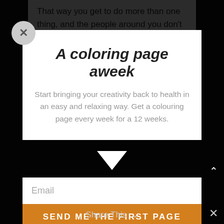That way you get to do more than one thing, and the people around you don't mind as much, but you still get the same amount of me-time.

We all need this time. Everyone, not just us creatives, but everyone needs
[Figure (screenshot): Close button X circle in grey]
A coloring page aweek
Start bringing your creativity back to health in an easy and relaxing way. Get a colouring page every week for a 12 weeks.
Email
Send me the first page
Share This ∨